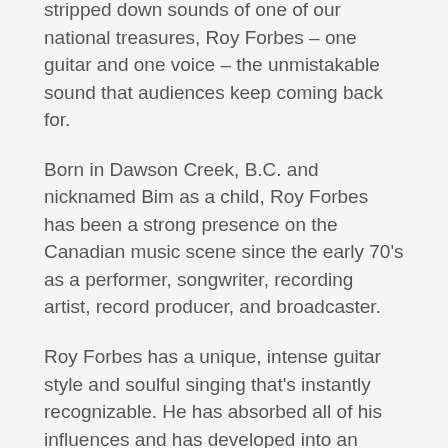stripped down sounds of one of our national treasures, Roy Forbes – one guitar and one voice – the unmistakable sound that audiences keep coming back for.
Born in Dawson Creek, B.C. and nicknamed Bim as a child, Roy Forbes has been a strong presence on the Canadian music scene since the early 70's as a performer, songwriter, recording artist, record producer, and broadcaster.
Roy Forbes has a unique, intense guitar style and soulful singing that's instantly recognizable. He has absorbed all of his influences and has developed into an original, dynamic, exciting performer of deeply resonant lyrics.
From the 1975 release of his first album, Kid Full Of Dreams, Roy has been regarded as one of Canada's